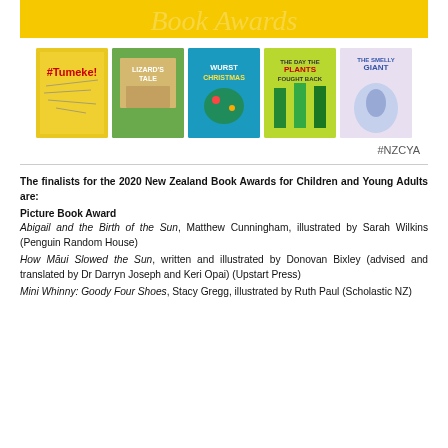[Figure (illustration): Yellow banner header with stylized text/logo for New Zealand Children and Young Adults Book Awards]
[Figure (illustration): Row of five book covers: #Tumeke!, Lizard's Tale, Wurst Christmas, The Day the Plants Fought Back, The Smelly Giant]
#NZCYA
The finalists for the 2020 New Zealand Book Awards for Children and Young Adults are:
Picture Book Award
Abigail and the Birth of the Sun, Matthew Cunningham, illustrated by Sarah Wilkins (Penguin Random House)
How Māui Slowed the Sun, written and illustrated by Donovan Bixley (advised and translated by Dr Darryn Joseph and Keri Opai) (Upstart Press)
Mini Whinny: Goody Four Shoes, Stacy Gregg, illustrated by Ruth Paul (Scholastic NZ)